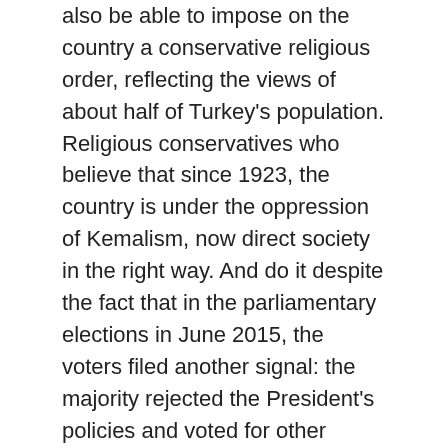also be able to impose on the country a conservative religious order, reflecting the views of about half of Turkey's population. Religious conservatives who believe that since 1923, the country is under the oppression of Kemalism, now direct society in the right way. And do it despite the fact that in the parliamentary elections in June 2015, the voters filed another signal: the majority rejected the President's policies and voted for other parties.
If Erdogan will achieve his goal, he is, in fact, will destroy the secular foundations of the Republic, proclaimed in 1923 by Kemal Ataturk. Then Turkey began to focus on Western legal and cultural standards changed even the names of the citizens and the alphabet. A departure from adopted then the system will lead to unpredictable consequences in the political and socio-economic life of Turkey.